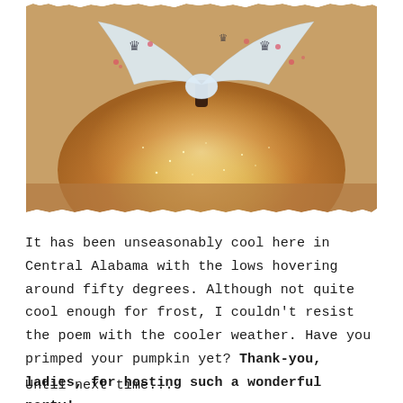[Figure (photo): A glittery golden pumpkin decorated with a sheer white fabric bow that has crown and floral prints on it. The pumpkin is sitting on what appears to be a wooden surface. The image has torn/ragged white edges giving it a vintage photo look.]
It has been unseasonably cool here in Central Alabama with the lows hovering around fifty degrees.  Although not quite cool enough for frost, I couldn't resist the poem with the cooler weather.  Have you primped your pumpkin yet?  Thank-you, ladies, for hosting such a wonderful party!
Until next time...